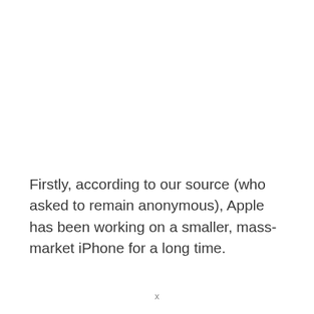Firstly, according to our source (who asked to remain anonymous), Apple has been working on a smaller, mass-market iPhone for a long time.